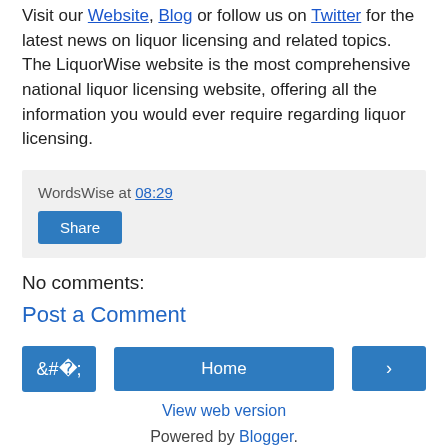Visit our Website, Blog or follow us on Twitter for the latest news on liquor licensing and related topics. The LiquorWise website is the most comprehensive national liquor licensing website, offering all the information you would ever require regarding liquor licensing.
WordsWise at 08:29
Share
No comments:
Post a Comment
< Home >
View web version
Powered by Blogger.